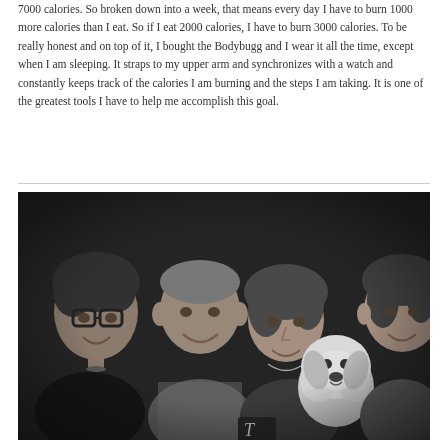7000 calories. So broken down into a week, that means every day I have to burn 1000 more calories than I eat. So if I eat 2000 calories, I have to burn 3000 calories. To be really honest and on top of it, I bought the Bodybugg and I wear it all the time, except when I am sleeping. It straps to my upper arm and synchronizes with a watch and constantly keeps track of the calories I am burning and the steps I am taking. It is one of the greatest tools I have to help me accomplish this goal.
[Figure (photo): Black and white photograph of a family group: a teenage boy with glasses on the left, a middle-aged man, a woman in the center, a fluffy dog, and a teenage girl on the right. They are posed together smiling at a table with a small sign or plaque visible.]